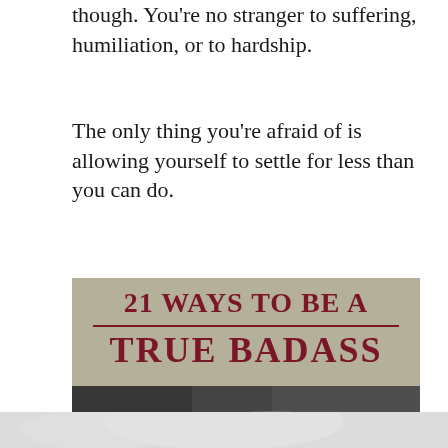though. You're no stranger to suffering, humiliation, or to hardship.
The only thing you're afraid of is allowing yourself to settle for less than you can do.
[Figure (illustration): Motivational graphic with tan/khaki background showing text '21 WAYS TO BE A' with a dark red horizontal divider line, then 'TRUE BADASS' in large dark red bold serif letters. Below is a dark photographic image showing what appears to be a person in dark lighting, fading into a lighter gray/white section at the very bottom.]